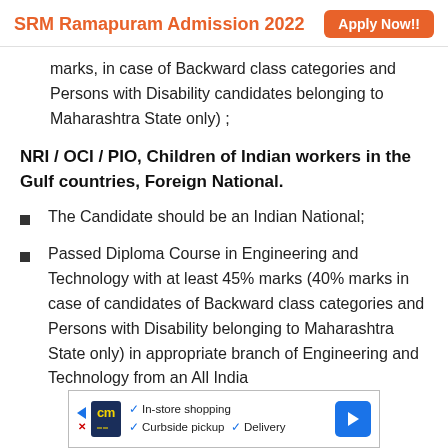SRM Ramapuram Admission 2022   Apply Now!!
marks, in case of Backward class categories and Persons with Disability candidates belonging to Maharashtra State only) ;
NRI / OCI / PIO, Children of Indian workers in the Gulf countries, Foreign National.
The Candidate should be an Indian National;
Passed Diploma Course in Engineering and Technology with at least 45% marks (40% marks in case of candidates of Backward class categories and Persons with Disability belonging to Maharashtra State only) in appropriate branch of Engineering and Technology from an All India
[Figure (infographic): Advertisement banner with CM logo, checkmarks showing In-store shopping, Curbside pickup, Delivery, and a blue arrow navigation icon]